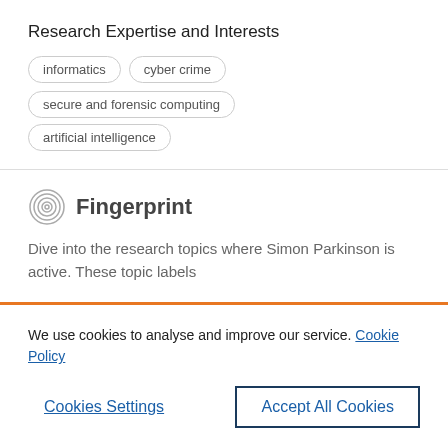Research Expertise and Interests
informatics
cyber crime
secure and forensic computing
artificial intelligence
Fingerprint
Dive into the research topics where Simon Parkinson is active. These topic labels
We use cookies to analyse and improve our service. Cookie Policy
Cookies Settings
Accept All Cookies